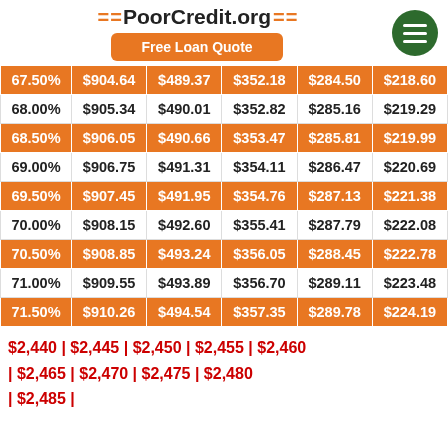=PoorCredit.org= | Free Loan Quote
| Rate | 1 Year | 2 Years | 3 Years | 4 Years | 5 Years |
| --- | --- | --- | --- | --- | --- |
| 67.50% | $904.64 | $489.37 | $352.18 | $284.50 | $218.60 |
| 68.00% | $905.34 | $490.01 | $352.82 | $285.16 | $219.29 |
| 68.50% | $906.05 | $490.66 | $353.47 | $285.81 | $219.99 |
| 69.00% | $906.75 | $491.31 | $354.11 | $286.47 | $220.69 |
| 69.50% | $907.45 | $491.95 | $354.76 | $287.13 | $221.38 |
| 70.00% | $908.15 | $492.60 | $355.41 | $287.79 | $222.08 |
| 70.50% | $908.85 | $493.24 | $356.05 | $288.45 | $222.78 |
| 71.00% | $909.55 | $493.89 | $356.70 | $289.11 | $223.48 |
| 71.50% | $910.26 | $494.54 | $357.35 | $289.78 | $224.19 |
$2,440 | $2,445 | $2,450 | $2,455 | $2,460 | $2,465 | $2,470 | $2,475 | $2,480 | $2,485